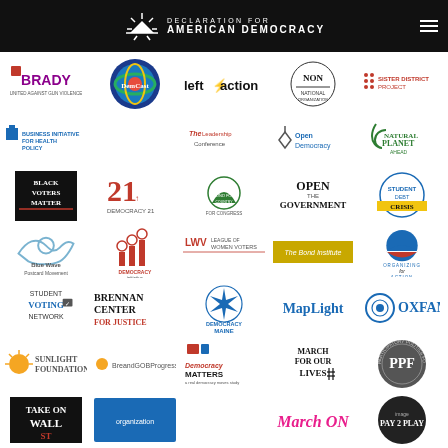Declaration for American Democracy
[Figure (logo): Grid of organization logos including Brady, DemCast, LeftAction, NIP, Sister District Project, Business Initiative for Health Policy, The Leadership Conference, Open Democracy, Planet organization, Black Voters Matter, Democracy 21, Fund for Country, Open Government, Student Debt Crisis, Blue Wave Postcard Movement, Democracy Initiative, League of Women Voters, Bond Institute, Organizing for Action, Student Voting Network, Brennan Center for Justice, Democracy Maine, MapLight, MarchForOurLives, Oxfam, PPF, Sunlight Foundation, Democracy Matters, MarchOn, Take On Wall St, The Climate Reality Project, Democracy Spring, March For Truth, Pay2Play, The Workers Circle, The Renewal, Transparency International, Truman National, Business for America]